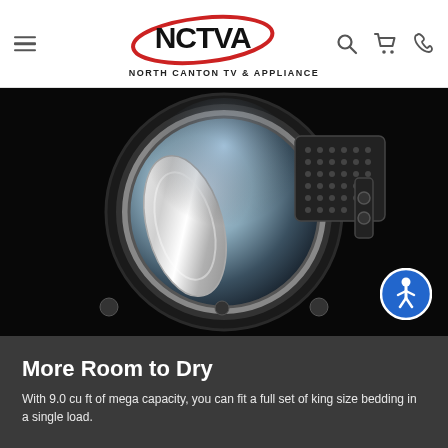North Canton TV & Appliance - navigation header with logo, hamburger menu, search, cart, and phone icons
[Figure (photo): Close-up interior view of a large capacity dryer drum showing the chrome door seal, perforated drum surface, and interior lighting against a dark background. An accessibility icon button is visible in the lower right corner.]
More Room to Dry
With 9.0 cu ft of mega capacity, you can fit a full set of king size bedding in a single load.